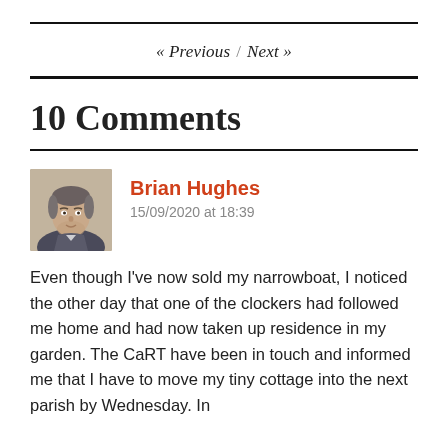« Previous / Next »
10 Comments
[Figure (illustration): Avatar portrait illustration of Brian Hughes – a painted/drawn face of a man]
Brian Hughes
15/09/2020 at 18:39
Even though I've now sold my narrowboat, I noticed the other day that one of the clockers had followed me home and had now taken up residence in my garden. The CaRT have been in touch and informed me that I have to move my tiny cottage into the next parish by Wednesday. In the meantime they're forcing me to look after...